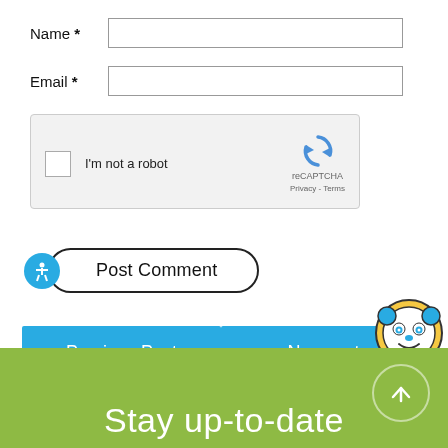Name *
Email *
[Figure (screenshot): reCAPTCHA widget with checkbox 'I'm not a robot' and reCAPTCHA logo with Privacy and Terms links]
[Figure (screenshot): Accessibility icon (blue circle with person figure) and 'Post Comment' button with rounded border]
[Figure (screenshot): Previous Post and Next Post navigation buttons in blue, with panda mascot icon overlay]
Stay up-to-date